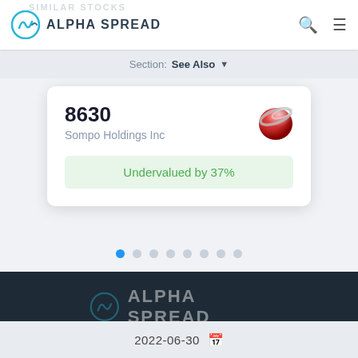SIMILAR STOCKS
ALPHA SPREAD
Section: See Also
8630
Sompo Holdings Inc
Undervalued by 37%
ALPHA SPREAD
2022-06-30